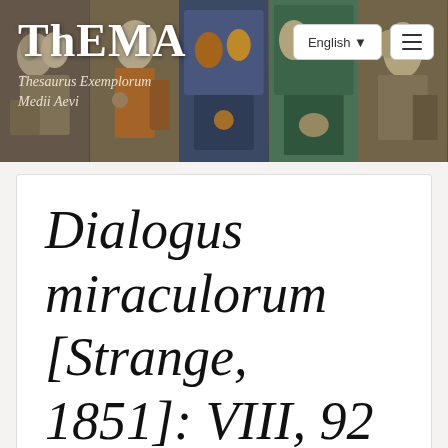[Figure (illustration): ThEMA website header banner with medieval manuscript illumination panels showing various scenes. Logo text 'ThEMA' in large white serif font with subtitle 'Thesaurus Exemplorum Medii Aevi' in italic. Language selector showing 'English' and hamburger menu button on the right.]
Dialogus miraculorum [Strange, 1851]: VIII, 92
Status: